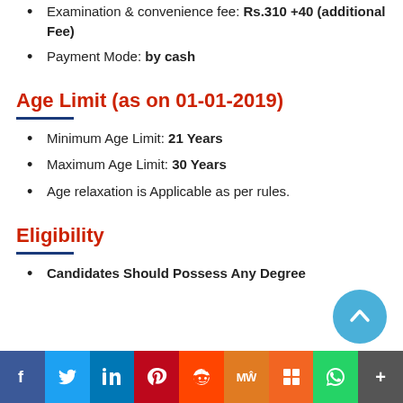Examination & convenience fee: Rs.310 +40 (additional Fee)
Payment Mode: by cash
Age Limit (as on 01-01-2019)
Minimum Age Limit: 21 Years
Maximum Age Limit: 30 Years
Age relaxation is Applicable as per rules.
Eligibility
Candidates Should Possess Any Degree